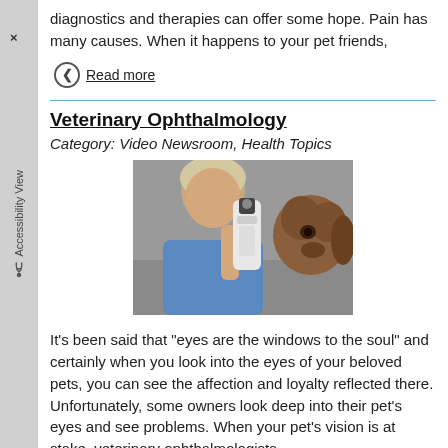diagnostics and therapies can offer some hope. Pain has many causes. When it happens to your pet friends,
Read more
Veterinary Ophthalmology
Category: Video Newsroom, Health Topics
[Figure (photo): A veterinarian using an ophthalmoscope to examine an animal's eye in a clinical setting.]
It's been said that "eyes are the windows to the soul" and certainly when you look into the eyes of your beloved pets, you can see the affection and loyalty reflected there. Unfortunately, some owners look deep into their pet's eyes and see problems. When your pet's vision is at stake, veterinary ophthalmologists